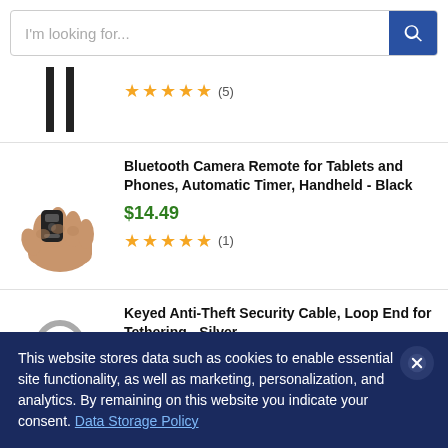[Figure (screenshot): Search bar with placeholder text 'I'm looking for...' and blue search button with magnifier icon]
[Figure (photo): Partial product image - two vertical black cables/sticks visible, with 5-star rating (5 reviews)]
[Figure (photo): Hand holding a small black Bluetooth camera remote]
Bluetooth Camera Remote for Tablets and Phones, Automatic Timer, Handheld - Black
$14.49
★★★★★ (1)
[Figure (photo): Partial image of Keyed Anti-Theft Security Cable silver loop end]
Keyed Anti-Theft Security Cable, Loop End for Tethering - Silver
This website stores data such as cookies to enable essential site functionality, as well as marketing, personalization, and analytics. By remaining on this website you indicate your consent. Data Storage Policy